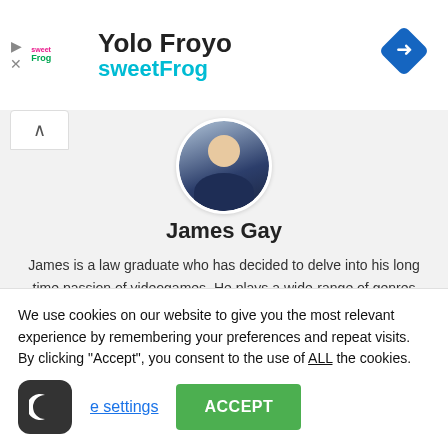[Figure (screenshot): Advertisement banner for sweetFrog frozen yogurt with navigation icon]
James Gay
James is a law graduate who has decided to delve into his long time passion of videogames. He plays a wide-range of genres from FPS, Action, Fighting Games, to RPGs and Grand Strategy. His aim is to always give the reader value, be it knowledge or
We use cookies on our website to give you the most relevant experience by remembering your preferences and repeat visits. By clicking "Accept", you consent to the use of ALL the cookies.
settings
ACCEPT